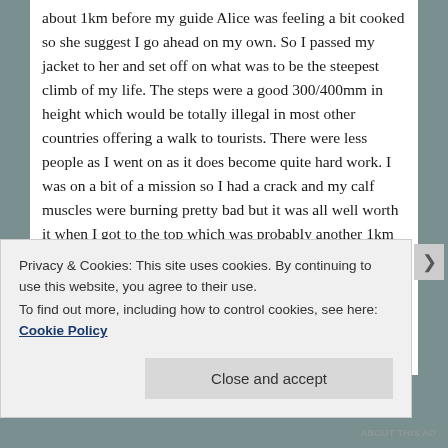about 1km before my guide Alice was feeling a bit cooked so she suggest I go ahead on my own. So I passed my jacket to her and set off on what was to be the steepest climb of my life. The steps were a good 300/400mm in height which would be totally illegal in most other countries offering a walk to tourists. There were less people as I went on as it does become quite hard work. I was on a bit of a mission so I had a crack and my calf muscles were burning pretty bad but it was all well worth it when I got to the top which was probably another 1km along. By now the tourist were quite scarce. The wall also went back to an unpaved bush track. It was very natural and probably what the wall actually looks like now. So I was very glad that I went a bit further along. By now I was
Privacy & Cookies: This site uses cookies. By continuing to use this website, you agree to their use.
To find out more, including how to control cookies, see here: Cookie Policy
Close and accept